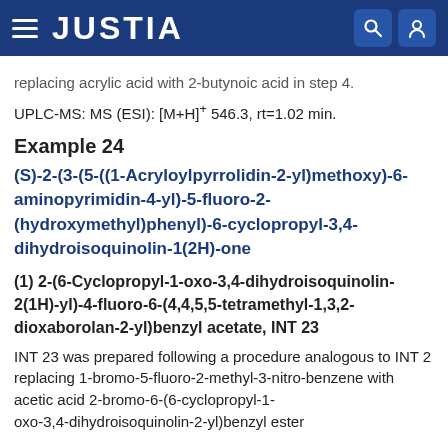JUSTIA
replacing acrylic acid with 2-butynoic acid in step 4.
UPLC-MS: MS (ESI): [M+H]+ 546.3, rt=1.02 min.
Example 24
(S)-2-(3-(5-((1-Acryloylpyrrolidin-2-yl)methoxy)-6-aminopyrimidin-4-yl)-5-fluoro-2-(hydroxymethyl)phenyl)-6-cyclopropyl-3,4-dihydroisoquinolin-1(2H)-one
(1) 2-(6-Cyclopropyl-1-oxo-3,4-dihydroisoquinolin-2(1H)-yl)-4-fluoro-6-(4,4,5,5-tetramethyl-1,3,2-dioxaborolan-2-yl)benzyl acetate, INT 23
INT 23 was prepared following a procedure analogous to INT 2 replacing 1-bromo-5-fluoro-2-methyl-3-nitro-benzene with acetic acid 2-bromo-6-(6-cyclopropyl-1-oxo-3,4-dihydroisoquinolin-2-yl)benzyl ester